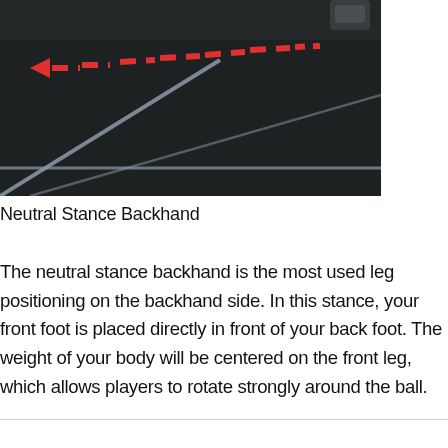[Figure (photo): A dark tennis or sports court surface viewed from above at an angle, showing white court lines and a red dashed arrow pointing left with dashes, indicating a movement or direction path on the backhand side.]
Neutral Stance Backhand
The neutral stance backhand is the most used leg positioning on the backhand side. In this stance, your front foot is placed directly in front of your back foot. The weight of your body will be centered on the front leg, which allows players to rotate strongly around the ball.